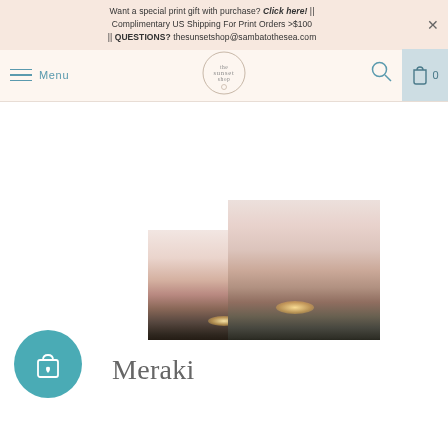Want a special print gift with purchase? Click here! || Complimentary US Shipping For Print Orders >$100 || QUESTIONS? thesunsetshop@sambatothesea.com
[Figure (screenshot): Website navigation bar with hamburger menu, Menu label in teal, central logo (the sunset shop), search icon, and cart icon with 0 items on grey background]
[Figure (photo): Two overlapping sunset landscape photos showing sun setting behind hills/mountains with warm pink and golden tones]
[Figure (logo): Teal circular icon with shopping bag and heart symbol]
Meraki